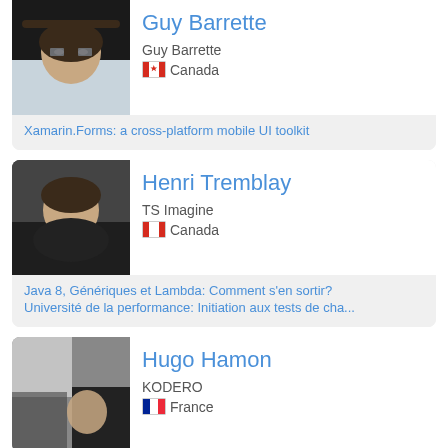[Figure (photo): Photo of Guy Barrette, a middle-aged man with glasses]
Guy Barrette
Guy Barrette
🇨🇦 Canada
Xamarin.Forms: a cross-platform mobile UI toolkit
[Figure (photo): Photo of Henri Tremblay, a young man smiling]
Henri Tremblay
TS Imagine
🇨🇦 Canada
Java 8, Génériques et Lambda: Comment s'en sortir?
Université de la performance: Initiation aux tests de cha...
[Figure (photo): Photo of Hugo Hamon]
Hugo Hamon
KODERO
🇫🇷 France